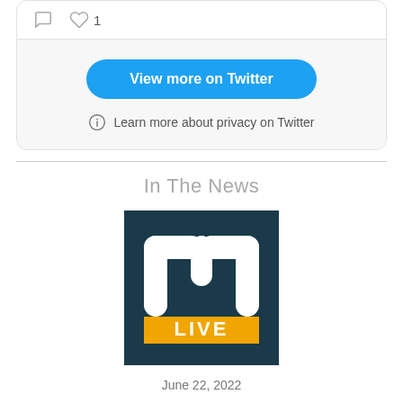[Figure (screenshot): Twitter embedded card bottom section showing comment icon, heart icon with count 1, a blue 'View more on Twitter' button, and a privacy info link.]
View more on Twitter
Learn more about privacy on Twitter
In The News
[Figure (logo): MLive logo — dark teal background with large white letter 'm' and orange 'LIVE' text below.]
June 22, 2022